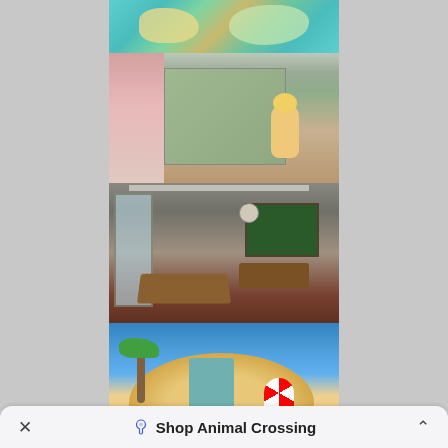[Figure (screenshot): Vertical scroll of Animal Crossing screenshots: island map view (teal/aqua top-down map with sand islands), shop interior with Isabelle character, classroom scene with desks and chalkboard, tropical island with palm trees and umbrella, and partial pink/red room interior at bottom.]
× Shop Animal Crossing ^